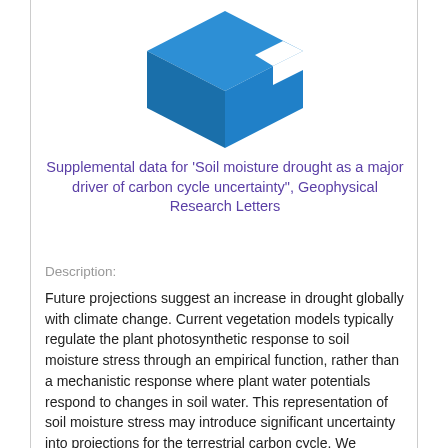[Figure (logo): Blue 3D box/cube logo icon for a data repository]
Supplemental data for 'Soil moisture drought as a major driver of carbon cycle uncertainty", Geophysical Research Letters
Description:
Future projections suggest an increase in drought globally with climate change. Current vegetation models typically regulate the plant photosynthetic response to soil moisture stress through an empirical function, rather than a mechanistic response where plant water potentials respond to changes in soil water. This representation of soil moisture stress may introduce significant uncertainty into projections for the terrestrial carbon cycle. We examined the use of the soil moisture limitation function in historical and future emissions scenarios in nine Earth